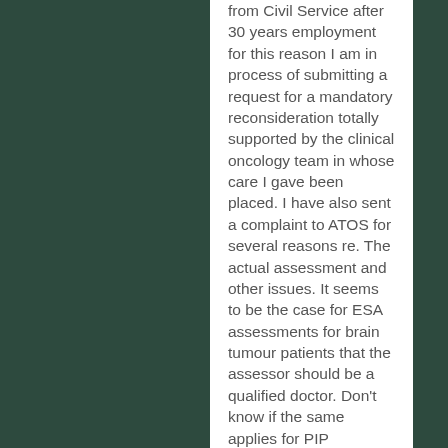from Civil Service after 30 years employment for this reason I am in process of submitting a request for a mandatory reconsideration totally supported by the clinical oncology team in whose care I gave been placed. I have also sent a complaint to ATOS for several reasons re. The actual assessment and other issues. It seems to be the case for ESA assessments for brain tumour patients that the assessor should be a qualified doctor. Don't know if the same applies for PIP assessments but if the ESA assessment should be carried out by a doctor I wouldn't have thought PIP assessments should be any different. I suspect the woman who carried out my assessment is classed as a disability